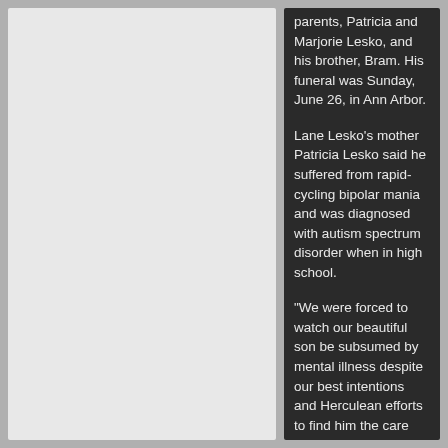parents, Patricia and Marjorie Lesko, and his brother, Bram. His funeral was Sunday, June 26, in Ann Arbor.
Lane Lesko's mother Patricia Lesko said he suffered from rapid-cycling bipolar mania and was diagnosed with autism spectrum disorder when in high school.
"We were forced to watch our beautiful son be subsumed by mental illness despite our best intentions and Herculean efforts to find him the care and treatment he needed," she said.
At Community High School, Lane Lesko was involved with Youth in Government, Model UN and theater, according to his obituary. He also